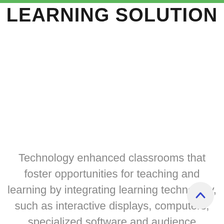LEARNING SOLUTION
Technology enhanced classrooms that foster opportunities for teaching and learning by integrating learning technology, such as interactive displays, computers, specialized software and audience